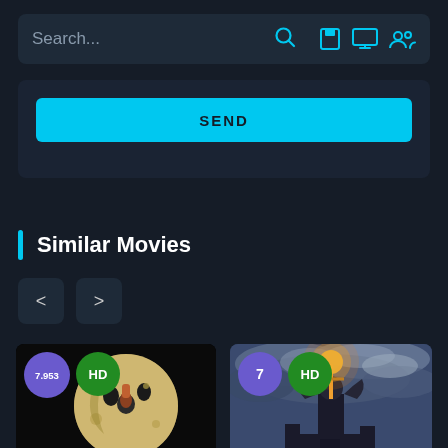[Figure (screenshot): Search bar with placeholder text 'Search...' and search icon, plus icons for save, monitor, and users on dark background]
[Figure (screenshot): SEND button in cyan on dark card background]
Similar Movies
[Figure (screenshot): Navigation left and right arrow buttons]
[Figure (photo): Movie card showing A Trip to the Moon - moon face with rocket, rating 7.953, HD badge]
[Figure (photo): Movie card showing fantasy/dark scene with knight holding glowing sword aloft against stormy sky, rating 7, HD badge]